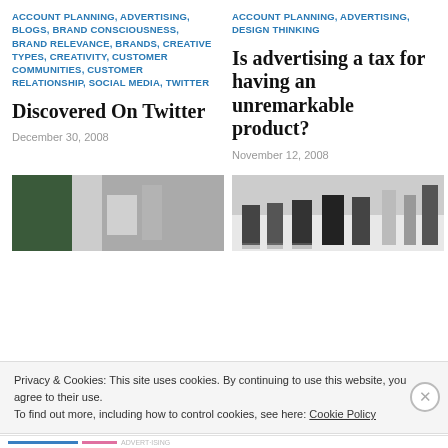ACCOUNT PLANNING, ADVERTISING, BLOGS, BRAND CONSCIOUSNESS, BRAND RELEVANCE, BRANDS, CREATIVE TYPES, CREATIVITY, CUSTOMER COMMUNITIES, CUSTOMER RELATIONSHIP, SOCIAL MEDIA, TWITTER
Discovered On Twitter
December 30, 2008
ACCOUNT PLANNING, ADVERTISING, DESIGN THINKING
Is advertising a tax for having an unremarkable product?
November 12, 2008
[Figure (photo): Partial view of an interior room with dark green wall and light background]
[Figure (photo): Black and white image of people's legs and feet]
Privacy & Cookies: This site uses cookies. By continuing to use this website, you agree to their use.
To find out more, including how to control cookies, see here: Cookie Policy
Close and accept